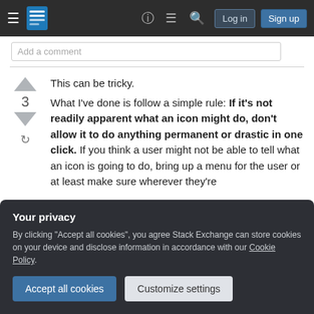Stack Exchange navigation bar with Log in and Sign up buttons
Add a comment
This can be tricky.
What I've done is follow a simple rule: If it's not readily apparent what an icon might do, don't allow it to do anything permanent or drastic in one click. If you think a user might not be able to tell what an icon is going to do, bring up a menu for the user or at least make sure wherever they're
Your privacy
By clicking "Accept all cookies", you agree Stack Exchange can store cookies on your device and disclose information in accordance with our Cookie Policy.
Accept all cookies
Customize settings